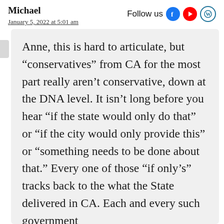Michael
January 5, 2022 at 5:01 am
Follow us
Anne, this is hard to articulate, but “conservatives” from CA for the most part really aren’t conservative, down at the DNA level. It isn’t long before you hear “if the state would only do that” or “if the city would only provide this” or “something needs to be done about that.” Every one of those “if only’s” tracks back to the what the State delivered in CA. Each and every such government